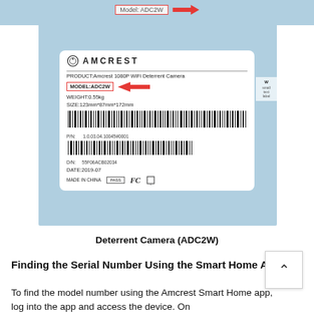[Figure (photo): Photo of Amcrest product label on box showing MODEL:ADC2W with red arrow pointing to it. Label shows PRODUCT: Amcrest 1080P WiFi Deterrent Camera, MODEL:ADC2W, WEIGHT:0.55kg, SIZE:123mm*87mm*172mm, barcodes, P/N: 1.0.03.04.10045#0001, D/N: 55F06ACB02034, DATE:2019-07, MADE IN CHINA, PASS, FC logos. Red arrow pointing left to model number box.]
Deterrent Camera (ADC2W)
Finding the Serial Number Using the Smart Home App
To find the model number using the Amcrest Smart Home app, log into the app and access the device. On